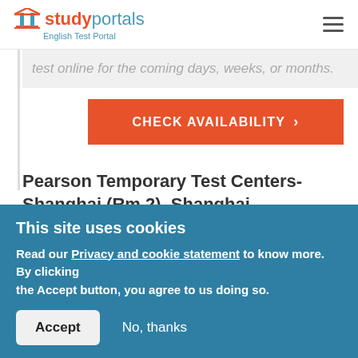studyportals — English Test Portal
test online for the coming days, weeks, or months.
CHECK AVAILABILITY >
Pearson Temporary Test Centers-Shanghai (Rm 2), Shanghai
Tests are taking place regularly. Each test center
This site uses cookies
Read our Privacy and cookie statement to know more. By clicking the Accept button, you agree to us doing so.
Accept   No, thanks